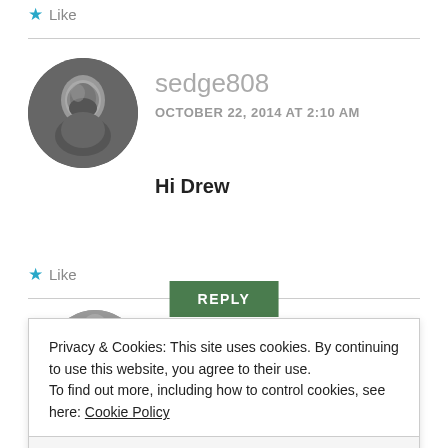★ Like
[Figure (photo): Circular avatar photo of a man with a beard, grayscale]
sedge808
OCTOBER 22, 2014 AT 2:10 AM
Hi Drew
★ Like
REPLY
Privacy & Cookies: This site uses cookies. By continuing to use this website, you agree to their use.
To find out more, including how to control cookies, see here: Cookie Policy
Close and accept
Hi Sedge!